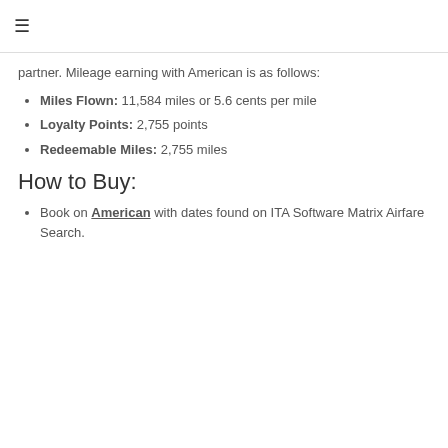≡
partner. Mileage earning with American is as follows:
Miles Flown: 11,584 miles or 5.6 cents per mile
Loyalty Points: 2,755 points
Redeemable Miles: 2,755 miles
How to Buy:
Book on American with dates found on ITA Software Matrix Airfare Search.